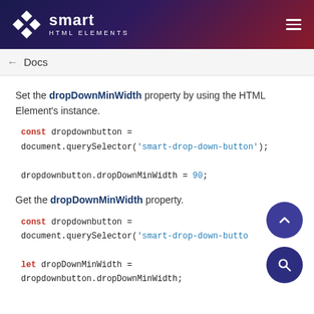smart HTML ELEMENTS
Docs
Set the dropDownMinWidth property by using the HTML Element's instance.
const dropdownbutton = document.querySelector('smart-drop-down-button');

dropdownbutton.dropDownMinWidth = 90;
Get the dropDownMinWidth property.
const dropdownbutton = document.querySelector('smart-drop-down-button');

let dropDownMinWidth =
dropdownbutton.dropDownMinWidth;